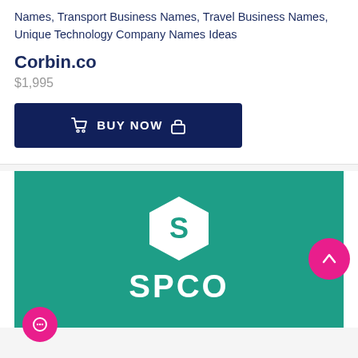Names, Transport Business Names, Travel Business Names, Unique Technology Company Names Ideas
Corbin.co
$1,995
[Figure (other): Dark navy 'BUY NOW' button with cart icon on left and lock icon on right]
[Figure (logo): SPCO logo on teal/green background — hexagon shape with 'S' inside, and 'SPCO' text below in white]
[Figure (other): Pink circular chat button at bottom left]
[Figure (other): Pink circular up-arrow button at bottom right]